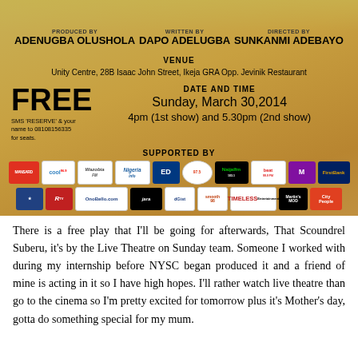[Figure (infographic): Theater show poster with golden background. Credits: Produced by Adenugba Olushola, Written by Dapo Adelugba, Directed by Sunkanmi Adebayo. Venue: Unity Centre, 28B Isaac John Street, Ikeja GRA Opp. Jevinik Restaurant. FREE entry. Date and Time: Sunday, March 30,2014, 4pm (1st show) and 5.30pm (2nd show). Supported by various media logos.]
There is a free play that I'll be going for afterwards, That Scoundrel Suberu, it's by the Live Theatre on Sunday team. Someone I worked with during my internship before NYSC began produced it and a friend of mine is acting in it so I have high hopes. I'll rather watch live theatre than go to the cinema so I'm pretty excited for tomorrow plus it's Mother's day, gotta do something special for my mum.